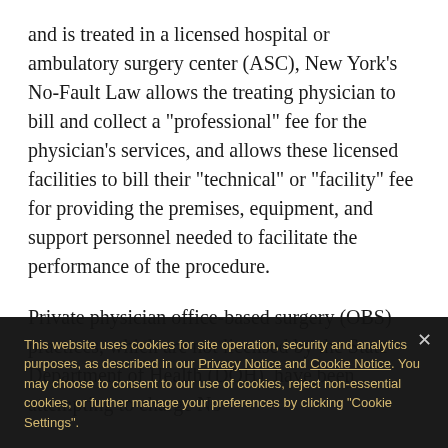and is treated in a licensed hospital or ambulatory surgery center (ASC), New York's No-Fault Law allows the treating physician to bill and collect a "professional" fee for the physician's services, and allows these licensed facilities to bill their "technical" or "facility" fee for providing the premises, equipment, and support personnel needed to facilitate the performance of the procedure.
Private physician office-based surgery (OBS) practices, which are not licensed by the State Department of Health (DOH), have been attempting to charge No-
This website uses cookies for site operation, security and analytics purposes, as described in our Privacy Notice and Cookie Notice. You may choose to consent to our use of cookies, reject non-essential cookies, or further manage your preferences by clicking "Cookie Settings".